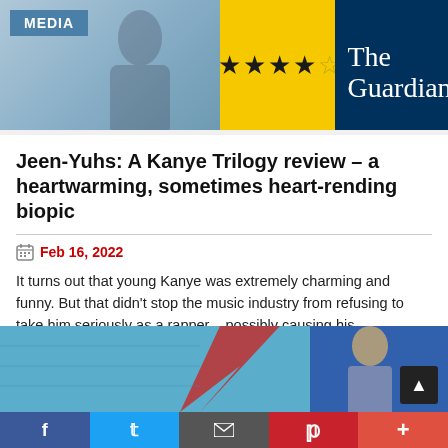[Figure (screenshot): The Guardian website header banner with MEDIA tag, 4-star rating on yellow background, and The Guardian logo on dark blue background]
Jeen-Yuhs: A Kanye Trilogy review – a heartwarming, sometimes heart-rending biopic
Feb 16, 2022
It turns out that young Kanye was extremely charming and funny. But that didn't stop the music industry from refusing to take him seriously as a rapper – possibly causing his controversial current persona
READ MORE
[Figure (photo): Man standing in front of colorful mural with red lightning bolt on blue and purple brick wall]
f  Twitter  Email  P  +